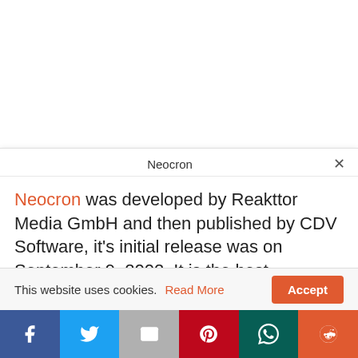Neocron
Neocron was developed by Reakttor Media GmbH and then published by CDV Software, it's initial release was on September 9, 2002. It is the best cyberpunk MMOFPSRPG, which is a very unique type of MMORPG. Neocron is called an MMFPSRPG because it is a hybrid between regular MMORPG and first-person shooter (FPS) oriented game. This game is
This website uses cookies. Read More Accept